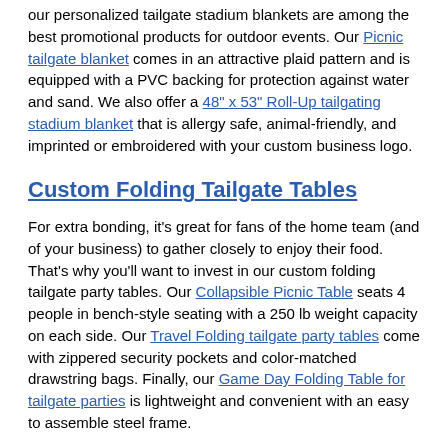our personalized tailgate stadium blankets are among the best promotional products for outdoor events. Our Picnic tailgate blanket comes in an attractive plaid pattern and is equipped with a PVC backing for protection against water and sand. We also offer a 48" x 53" Roll-Up tailgating stadium blanket that is allergy safe, animal-friendly, and imprinted or embroidered with your custom business logo.
Custom Folding Tailgate Tables
For extra bonding, it's great for fans of the home team (and of your business) to gather closely to enjoy their food. That's why you'll want to invest in our custom folding tailgate party tables. Our Collapsible Picnic Table seats 4 people in bench-style seating with a 250 lb weight capacity on each side. Our Travel Folding tailgate party tables come with zippered security pockets and color-matched drawstring bags. Finally, our Game Day Folding Table for tailgate parties is lightweight and convenient with an easy to assemble steel frame.
Promotional Tailgating Umbrellas
To keep the sun, rain, or snow at bay, our 60" Arc Tailgate Party